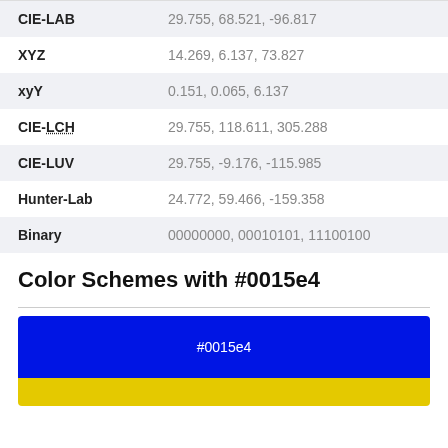| Color Space | Value |
| --- | --- |
| CIE-LAB | 29.755, 68.521, -96.817 |
| XYZ | 14.269, 6.137, 73.827 |
| xyY | 0.151, 0.065, 6.137 |
| CIE-LCH | 29.755, 118.611, 305.288 |
| CIE-LUV | 29.755, -9.176, -115.985 |
| Hunter-Lab | 24.772, 59.466, -159.358 |
| Binary | 00000000, 00010101, 11100100 |
Color Schemes with #0015e4
[Figure (infographic): Color swatch showing #0015e4 (blue) on top and a yellow/gold color below]